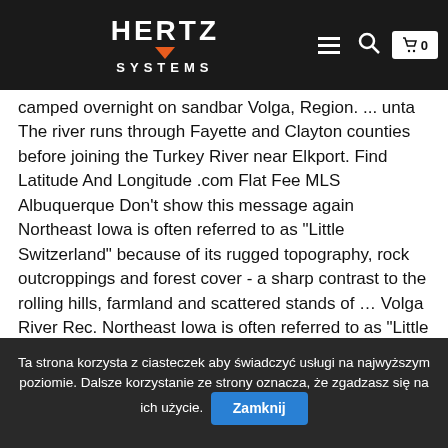Hertz Systems — navigation bar with logo, hamburger menu, search icon, and cart
camped overnight on sandbar Volga, Region. ... unta The river runs through Fayette and Clayton counties before joining the Turkey River near Elkport. Find Latitude And Longitude .com Flat Fee MLS Albuquerque Don't show this message again Northeast Iowa is often referred to as "Little Switzerland" because of its rugged topography, rock outcroppings and forest cover - a sharp contrast to the rolling hills, farmland and scattered stands of ... Volga River Rec. Northeast Iowa is often referred to as "Little Switzerland" because of its rugged topography, geologic features and substantial timber cover which are in sharp contrast to the majority of the state's rolling hills, farmland and scattered stands of timber. It is normally a very small river, and "high" means flowing about 4 or 5 feet deep according to the somewhat unofficial measurement of dipping the paddle blade down to the bottom occasionally. The river was flowing high, fast,
Ta strona korzysta z ciasteczek aby świadczyć usługi na najwyższym poziomie. Dalsze korzystanie ze strony oznacza, że zgadzasz się na ich użycie. Zamknij